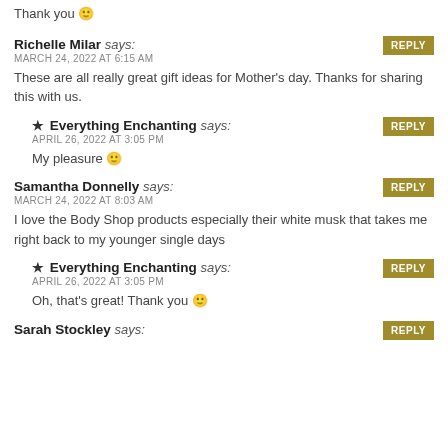Thank you 🙂
Richelle Milar says:
MARCH 24, 2022 AT 6:15 AM
These are all really great gift ideas for Mother's day. Thanks for sharing this with us.
★ Everything Enchanting says:
APRIL 26, 2022 AT 3:05 PM
My pleasure 🙂
Samantha Donnelly says:
MARCH 24, 2022 AT 8:03 AM
I love the Body Shop products especially their white musk that takes me right back to my younger single days
★ Everything Enchanting says:
APRIL 26, 2022 AT 3:05 PM
Oh, that's great! Thank you 🙂
Sarah Stockley says: